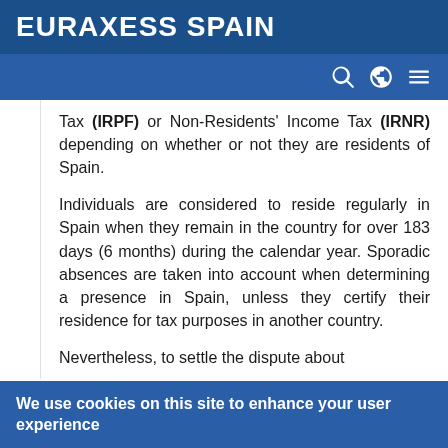EURAXESS SPAIN
Tax (IRPF) or Non-Residents' Income Tax (IRNR) depending on whether or not they are residents of Spain.
Individuals are considered to reside regularly in Spain when they remain in the country for over 183 days (6 months) during the calendar year. Sporadic absences are taken into account when determining a presence in Spain, unless they certify their residence for tax purposes in another country.
Nevertheless, to settle the dispute about
We use cookies on this site to enhance your user experience